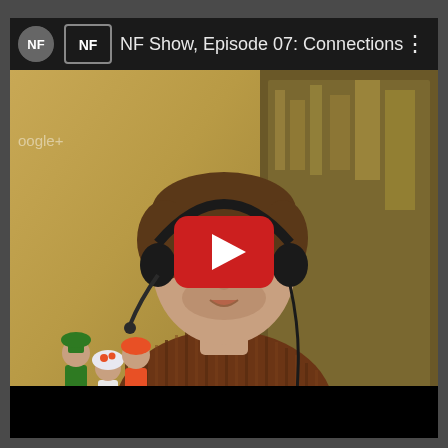[Figure (screenshot): YouTube-style video player screenshot showing a man wearing headphones and a brown striped shirt sitting in front of a decorative background with Mario figurines on the left side. The video title bar reads 'NF Show, Episode 07: Connections' with an NF logo. A red YouTube play button is overlaid in the center of the video frame. A Google+ watermark is visible in the top-left of the video.]